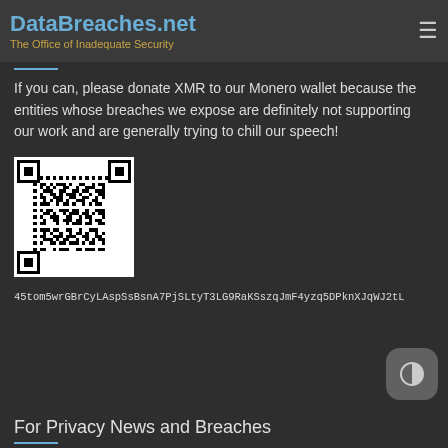DataBreaches.net | The Office of Inadequate Security | Please Donate
Please Donate
If you can, please donate XMR to our Monero wallet because the entities whose breaches we expose are definitely not supporting our work and are generally trying to chill our speech!
[Figure (other): QR code for Monero cryptocurrency wallet donation]
45tom5wrGBrCyLAspSsBsnA7PjSLtyT3LG9RaKSszqJmF4yzq5DPknXJqWJ2tL
For Privacy News and Breaches